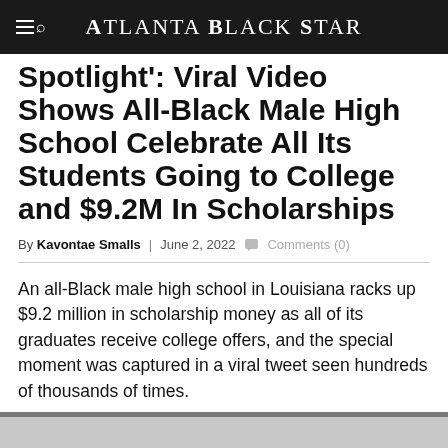Atlanta Black Star
Spotlight': Viral Video Shows All-Black Male High School Celebrate All Its Students Going to College and $9.2M In Scholarships
By Kavontae Smalls | June 2, 2022  Comments (0)
An all-Black male high school in Louisiana racks up $9.2 million in scholarship money as all of its graduates receive college offers, and the special moment was captured in a viral tweet seen hundreds of thousands of times.
[Figure (photo): Image placeholder / partial image at bottom of page]